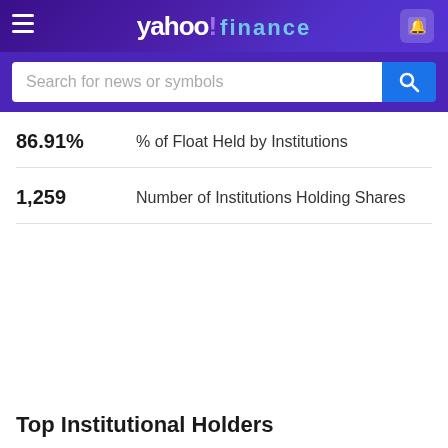yahoo! finance
Search for news or symbols
86.91%   % of Float Held by Institutions
1,259   Number of Institutions Holding Shares
Top Institutional Holders